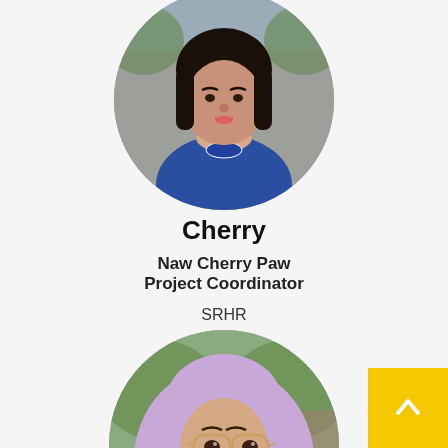[Figure (photo): Circular profile photo of a woman wearing a blue embroidered top with dark hair, cropped at top]
Cherry
Naw Cherry Paw
Project Coordinator

SRHR
[Figure (photo): Circular profile photo of a woman wearing a light purple hijab and glasses, smiling, partially cropped at bottom]